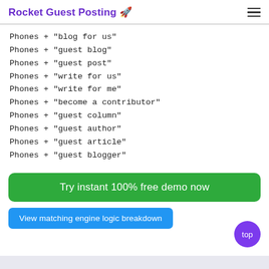Rocket Guest Posting 🚀
Phones + "blog for us"
Phones + "guest blog"
Phones + "guest post"
Phones + "write for us"
Phones + "write for me"
Phones + "become a contributor"
Phones + "guest column"
Phones + "guest author"
Phones + "guest article"
Phones + "guest blogger"
Try instant 100% free demo now
View matching engine logic breakdown